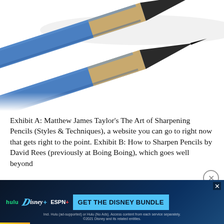[Figure (photo): Close-up photograph of two sharpened blue pencils with dark graphite tips, angled diagonally against a white background.]
Exhibit A: Matthew James Taylor's The Art of Sharpening Pencils (Styles & Techniques), a website you can go to right now that gets right to the point. Exhibit B: How to Sharpen Pencils by David Rees (previously at Boing Boing), which goes well beyond
[Figure (screenshot): Disney Bundle advertisement banner showing Hulu, Disney+, and ESPN+ logos with 'GET THE DISNEY BUNDLE' call to action button. Fine print reads: Incl. Hulu (ad-supported) or Hulu (No Ads). Access content from each service separately. ©2021 Disney and its related entities.]